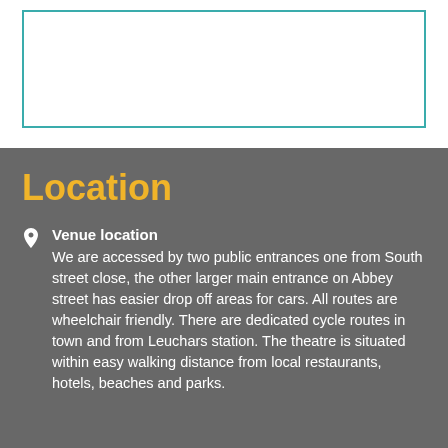[Figure (other): White rectangular box with teal/cyan border, representing an image placeholder area]
Location
Venue location
We are accessed by two public entrances one from South street close, the other larger main entrance on Abbey street has easier drop off areas for cars. All routes are wheelchair friendly. There are dedicated cycle routes in town and from Leuchars station. The theatre is situated within easy walking distance from local restaurants, hotels, beaches and parks.